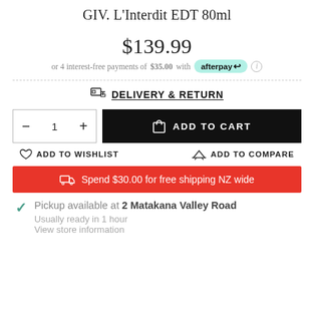GIV. L'Interdit EDT 80ml
$139.99
or 4 interest-free payments of $35.00 with afterpay
DELIVERY & RETURN
- 1 + ADD TO CART
ADD TO WISHLIST   ADD TO COMPARE
Spend $30.00 for free shipping NZ wide
Pickup available at 2 Matakana Valley Road
Usually ready in 1 hour
View store information